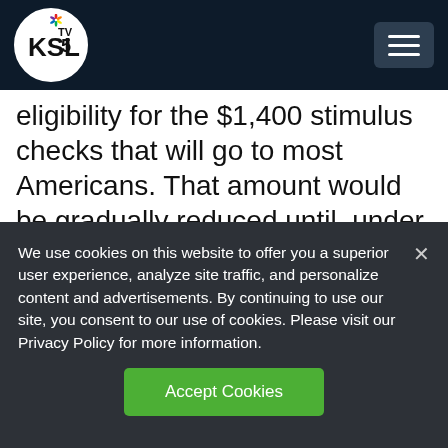KSL TV 5
eligibility for the $1,400 stimulus checks that will go to most Americans. That amount would be gradually reduced until, under the Senate bill, it reaches zero for people earning $80,000 and couples making $160,000. Those amounts were higher in the House
We use cookies on this website to offer you a superior user experience, analyze site traffic, and personalize content and advertisements. By continuing to use our site, you consent to our use of cookies. Please visit our Privacy Policy for more information.
Accept Cookies